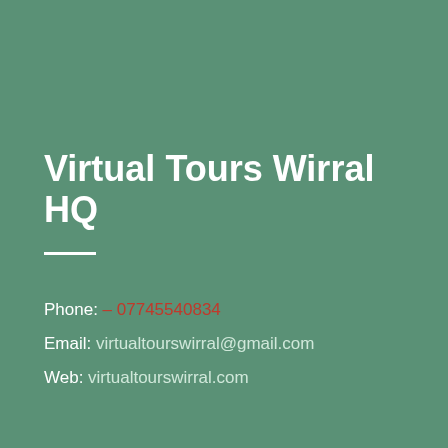Virtual Tours Wirral HQ
Phone: – 07745540834
Email: virtualtourswirral@gmail.com
Web: virtualtourswirral.com